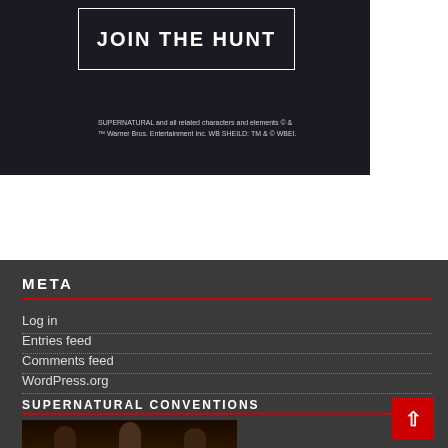[Figure (screenshot): Dark background image with 'JOIN THE HUNT' text in white inside a rectangular border, with copyright text below: SUPERNATURAL and all related characters and elements © & ™ Warner Bros. Entertainment Inc. WB SHEILD: TM & © WBEI.]
SUPERNATURAL and all related characters and elements © & ™ Warner Bros. Entertainment Inc. WB SHEILD: TM & © WBEI.
META
Log in
Entries feed
Comments feed
WordPress.org
SUPERNATURAL CONVENTIONS
[Figure (photo): Dark dramatic photo of three people (characters from Supernatural TV show)]